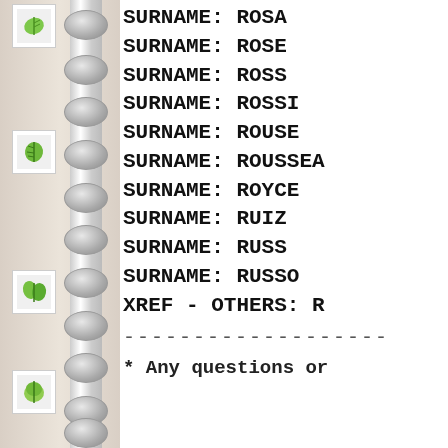[Figure (illustration): Spiral-bound notebook binding with green leaf icons and white spiral rings on beige background]
SURNAME: ROSA
SURNAME: ROSE
SURNAME: ROSS
SURNAME: ROSSI
SURNAME: ROUSE
SURNAME: ROUSSEA
SURNAME: ROYCE
SURNAME: RUIZ
SURNAME: RUSS
SURNAME: RUSSO
XREF - OTHERS: R
-------------------
* Any questions or